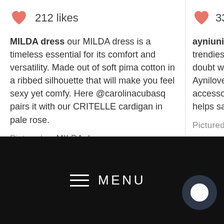212 likes
MILDA dress our MILDA dress is a timeless essential for its comfort and versatility. Made out of soft pima cotton in a ribbed silhouette that will make you feel sexy yet comfy. Here @carolinacubasq pairs it with our CRITELLE cardigan in pale rose.
Pictured — MILDA dress
339 likes
ayniuniverse so trendiest access no doubt why th our Aynilovers! T accessory that h and helps save
Pictured — AVEN
MENU